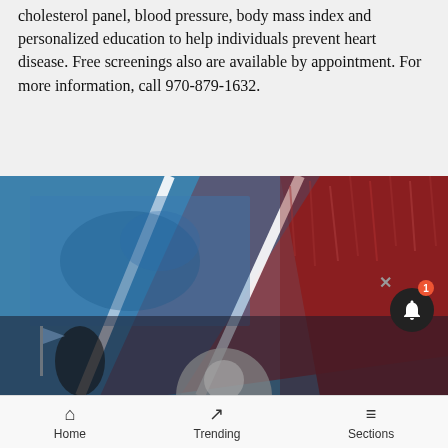cholesterol panel, blood pressure, body mass index and personalized education to help individuals prevent heart disease. Free screenings also are available by appointment. For more information, call 970-879-1632.
Drop in flu clinic set at Hayden Town Hall
[Figure (photo): A composite image with diamond-shaped sections tinted blue and red showing medical/health related scenes including hands and a landscape.]